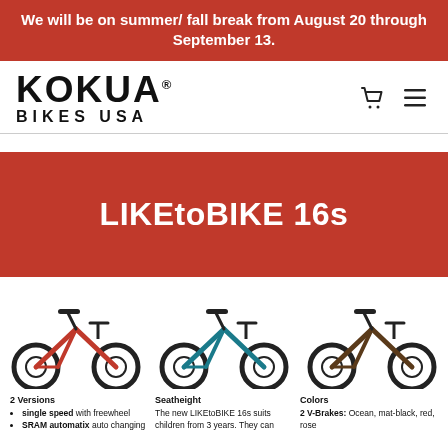We will be on summer/ fall break from August 20 through September 13.
[Figure (logo): KOKUA BIKES USA logo with cart and menu icons]
LIKEtoBIKE 16s
[Figure (photo): Three LIKEtoBIKE 16s children's bicycles shown side by side: red, teal/blue, and brown/black]
2 Versions: single speed with freewheel; SRAM automatix auto changing
Seatheight: The new LIKEtoBIKE 16s suits children from 3 years. They can
Colors: 2 V-Brakes: Ocean, mat-black, red, rose